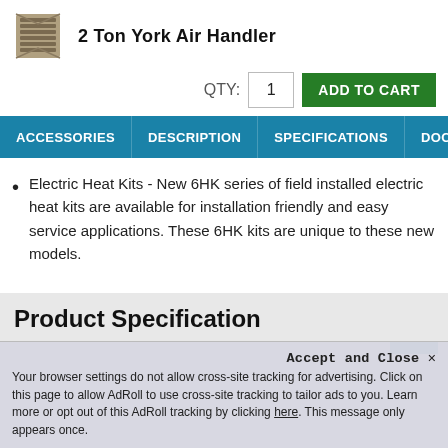2 Ton York Air Handler
QTY: 1 ADD TO CART
ACCESSORIES  DESCRIPTION  SPECIFICATIONS  DOCUMENTS  P
Electric Heat Kits - New 6HK series of field installed electric heat kits are available for installation friendly and easy service applications. These 6HK kits are unique to these new models.
Product Specification
Accept and Close ✕
Your browser settings do not allow cross-site tracking for advertising. Click on this page to allow AdRoll to use cross-site tracking to tailor ads to you. Learn more or opt out of this AdRoll tracking by clicking here. This message only appears once.